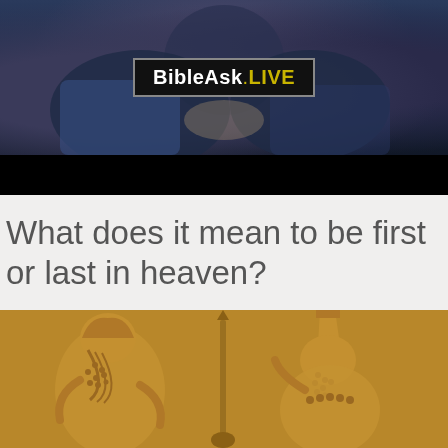[Figure (photo): Screenshot of a video thumbnail showing a person with hands visible, with BibleAsk.LIVE logo overlay in a dark blue/dark toned background]
What does it mean to be first or last in heaven?
[Figure (photo): Ancient Assyrian or Mesopotamian stone relief carving showing two bearded figures in profile, one holding a staff, rendered in tan/golden tones]